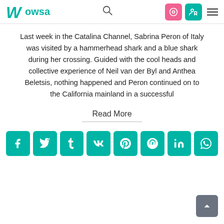Wowsa
Last week in the Catalina Channel, Sabrina Peron of Italy was visited by a hammerhead shark and a blue shark during her crossing. Guided with the cool heads and collective experience of Neil van der Byl and Anthea Beletsis, nothing happened and Peron continued on to the California mainland in a successful
Read More
[Figure (other): Social sharing icons row: Facebook, Twitter, Tumblr, VK, Pinterest, StumbleUpon, LinkedIn, WhatsApp — all teal rounded square buttons with white icons]